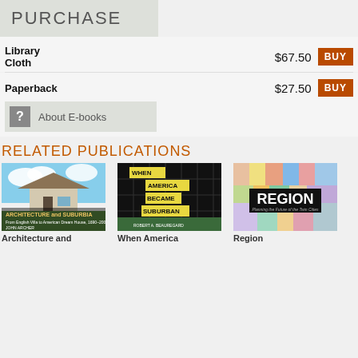PURCHASE
Library Cloth  $67.50  BUY
Paperback  $27.50  BUY
? About E-books
RELATED PUBLICATIONS
[Figure (photo): Book cover: Architecture and Suburbia by John Archer]
[Figure (photo): Book cover: When America Became Suburban by Robert A. Beauregard]
[Figure (photo): Book cover: Region - Planning the Future of the Twin Cities]
Architecture and
When America
Region